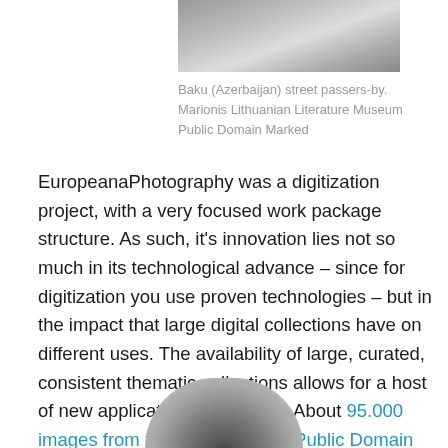[Figure (photo): Black and white photograph of Baku (Azerbaijan) street passers-by, partially visible at top of page.]
Baku (Azerbaijan) street passers-by.
Marionis Lithuanian Literature Museum
Public Domain Marked
EuropeanaPhotography was a digitization project, with a very focused work package structure. As such, it's innovation lies not so much in its technological advance – since for digitization you use proven technologies – but in the impact that large digital collections have on different uses. The availability of large, curated, consistent thematic collections allows for a host of new applications to emerge. About 95.000 images from the Collection are Public Domain Marked, allowing reuse without conditions.
[Figure (photo): Bottom portion of a circular or rounded black and white image, showing the top arc of a photograph, cropped at the bottom of the page.]